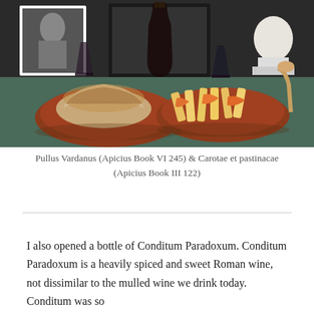[Figure (photo): A photograph of two Roman-style clay dishes on a blue/green tablecloth. The left dish contains a mound of food topped with a browned cheese or sauce topping. The right dish contains roasted carrots and parsnips/fries. In the background are framed black-and-white photographs, a dark glass carafe and cup, and a white marble bust on the right.]
Pullus Vardanus (Apicius Book VI 245) & Carotae et pastinacae (Apicius Book III 122)
I also opened a bottle of Conditum Paradoxum. Conditum Paradoxum is a heavily spiced and sweet Roman wine, not dissimilar to the mulled wine we drink today. Conditum was so